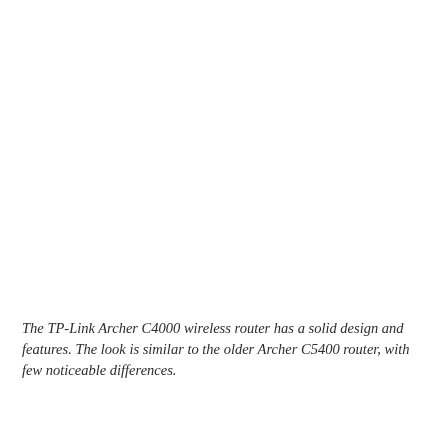[Figure (photo): Blank white area where a photo of the TP-Link Archer C4000 wireless router would appear]
The TP-Link Archer C4000 wireless router has a solid design and features. The look is similar to the older Archer C5400 router, with few noticeable differences.